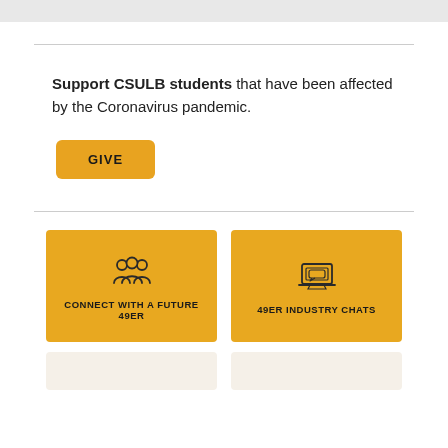Support CSULB students that have been affected by the Coronavirus pandemic.
[Figure (other): GIVE button - golden/amber colored button with text GIVE]
[Figure (infographic): Two golden cards side by side: left card shows people/group icon with text CONNECT WITH A FUTURE 49ER; right card shows laptop/monitor icon with text 49ER INDUSTRY CHATS]
[Figure (other): Two light-colored cards side by side, partially visible at bottom of page]